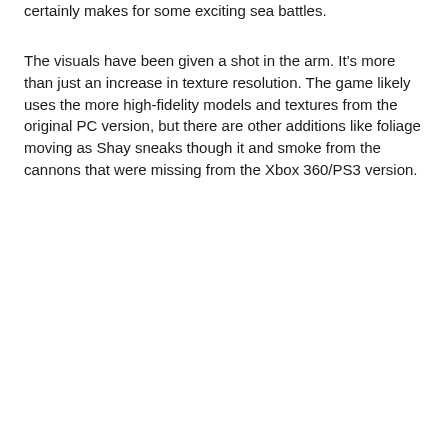certainly makes for some exciting sea battles.
The visuals have been given a shot in the arm. It’s more than just an increase in texture resolution. The game likely uses the more high-fidelity models and textures from the original PC version, but there are other additions like foliage moving as Shay sneaks though it and smoke from the cannons that were missing from the Xbox 360/PS3 version.